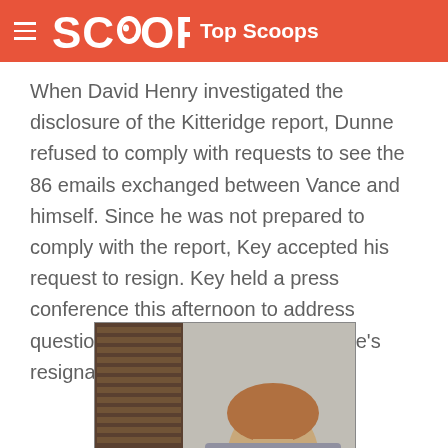SCOOP Top Scoops
When David Henry investigated the disclosure of the Kitteridge report, Dunne refused to comply with requests to see the 86 emails exchanged between Vance and himself. Since he was not prepared to comply with the report, Key accepted his request to resign. Key held a press conference this afternoon to address questions from reporters about Dunne's resignation.
[Figure (photo): Photo of a man partially visible, with wooden blinds in the background on the left side and a neutral wall on the right side.]